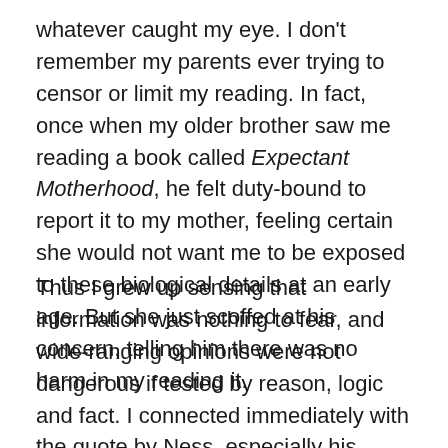whatever caught my eye. I don't remember my parents ever trying to censor or limit my reading. In fact, once when my older brother saw me reading a book called Expectant Motherhood, he felt duty-bound to report it to my mother, feeling certain she would not want me to be exposed to these biological details at an early age. But she just scoffed at his concern, telling him there was no harm in my reading it.
Thus I grew up sensing that information was nothing to fear, and wide-ranging opinions were not dangerous if tested by reason, logic and fact. I connected immediately with the quote by Ness, especially his description of himself as “a hugely unchaperoned reader.” For all the adventures I would later experience through travel, my earliest explorations were made possible by public and